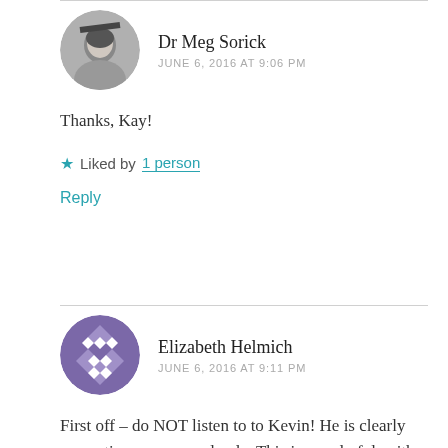Dr Meg Sorick
JUNE 6, 2016 AT 9:06 PM
Thanks, Kay!
★ Liked by 1 person
Reply
Elizabeth Helmich
JUNE 6, 2016 AT 9:11 PM
First off – do NOT listen to to Kevin! He is clearly corrupting you, very slowly. This is wonderful, with excellent narration, I am so